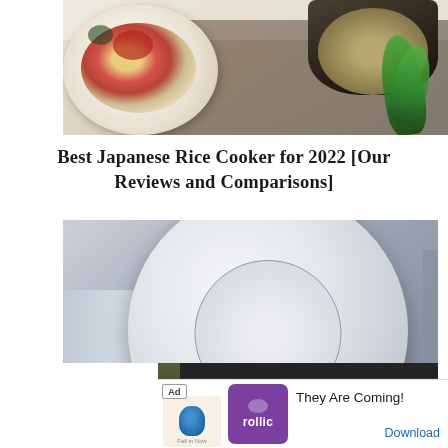[Figure (photo): Top photo showing two dark rice cooker bowls with cooked rice dishes — one with colorful vegetables and tomatoes in a white bowl on the left, fresh green herbs on the right, on a white surface]
Best Japanese Rice Cooker for 2022 [Our Reviews and Comparisons]
[Figure (photo): Close-up photo of a white rice cooker lid from above, showing a circular embossed logo/label in the center, with the black body of the cooker and metallic handles visible on the sides]
[Figure (photo): Bottom portion photo showing a black rice cooker appliance with a red glowing heating element visible, on a dark surface]
[Figure (screenshot): Ad banner at the bottom showing 'Ad' label, a bird icon app, purple Rollic logo box, text 'They Are Coming!' and a blue 'Download' link]